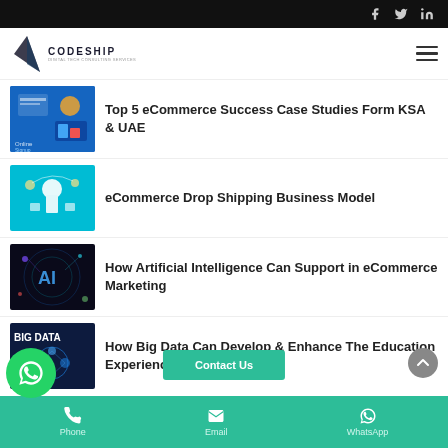Social icons: Facebook, Twitter, LinkedIn
[Figure (logo): CodeShip logo with sailboat icon and tagline]
Top 5 eCommerce Success Case Studies Form KSA & UAE
eCommerce Drop Shipping Business Model
How Artificial Intelligence Can Support in eCommerce Marketing
How Big Data Can Develop & Enhance The Education Experience
Phone | Email | WhatsApp